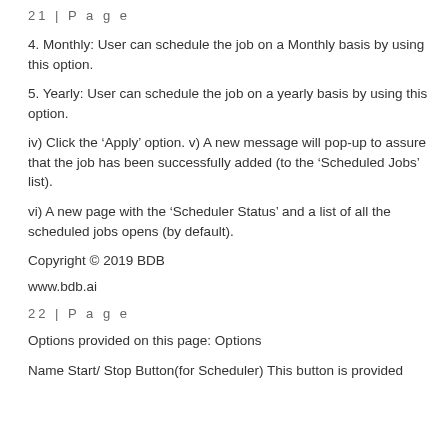21 | P a g e
4. Monthly: User can schedule the job on a Monthly basis by using this option.
5. Yearly: User can schedule the job on a yearly basis by using this option.
iv) Click the ‘Apply’ option. v) A new message will pop-up to assure that the job has been successfully added (to the ‘Scheduled Jobs’ list).
vi) A new page with the ‘Scheduler Status’ and a list of all the scheduled jobs opens (by default).
Copyright © 2019 BDB
www.bdb.ai
22 | P a g e
Options provided on this page: Options
Name Start/ Stop Button(for Scheduler) This button is provided